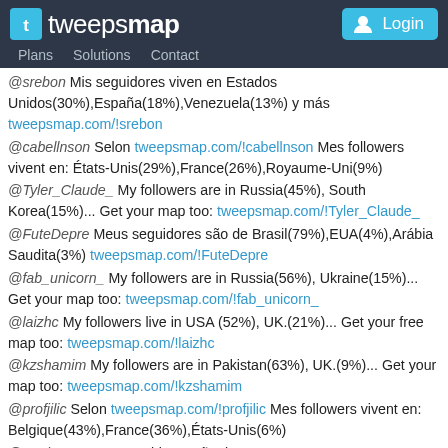tweepsmap | Plans | Solutions | Contact | Login
@srebon Mis seguidores viven en Estados Unidos(30%),España(18%),Venezuela(13%) y más tweepsmap.com/!srebon
@cabellnson Selon tweepsmap.com/!cabellnson Mes followers vivent en: États-Unis(29%),France(26%),Royaume-Uni(9%)
@Tyler_Claude_ My followers are in Russia(45%), South Korea(15%)... Get your map too: tweepsmap.com/!Tyler_Claude_
@FuteDepre Meus seguidores são de Brasil(79%),EUA(4%),Arábia Saudita(3%) tweepsmap.com/!FuteDepre
@fab_unicorn_ My followers are in Russia(56%), Ukraine(15%)... Get your map too: tweepsmap.com/!fab_unicorn_
@laizhc My followers live in USA (52%), UK.(21%)... Get your free map too: tweepsmap.com/!laizhc
@kzshamim My followers are in Pakistan(63%), UK.(9%)... Get your map too: tweepsmap.com/!kzshamim
@profjilic Selon tweepsmap.com/!profjilic Mes followers vivent en: Belgique(43%),France(36%),États-Unis(6%)
@verdete7 Meus seguidores são de Portugal(83%),Brasil(8%),Reino Unido(2%) tweepsmap.com/!verdete7
@MMuskhaa My followers live in Nigeria (75%), USA(10%)... Get your free map: tweepsmap.com/!MMuskhaa
@Different_93 حسب tweepsmap.com/!Different_93 من متابعيني %67حوالي يعيشون في السعوديه والامارات العربيه المتحده(%7),الكويت(%6)
@MagnusBjorg My followers are in Denmark(83%), USA(4%)... Get your